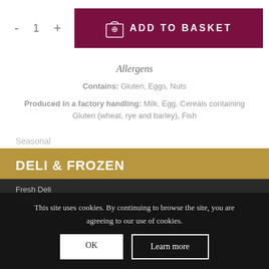- 1 +
ADD TO BASKET
Allergens
Contains: Gluten, Eggs, Nuts
Produced in a factory handling: Milk, Egg, Cereals containing Gluten (wheat, rye and barley), Fish
Seasonal
DELI & FROZEN
Board Room Selection
Fresh Deli
Frozen Food
This site uses cookies. By continuing to browse the site, you are agreeing to our use of cookies.
OK
Learn more
CAKES